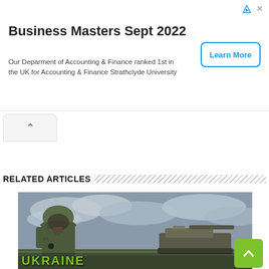[Figure (other): Advertisement banner for Business Masters Sept 2022 from Strathclyde University with a Learn More button]
Business Masters Sept 2022
Our Deparment of Accounting & Finance ranked 1st in the UK for Accounting & Finance Strathclyde University
RELATED ARTICLES
[Figure (photo): A soldier in camouflage uniform and helmet in the foreground with a military tank in the background under an overcast sky. Green text overlay at bottom partially visible.]